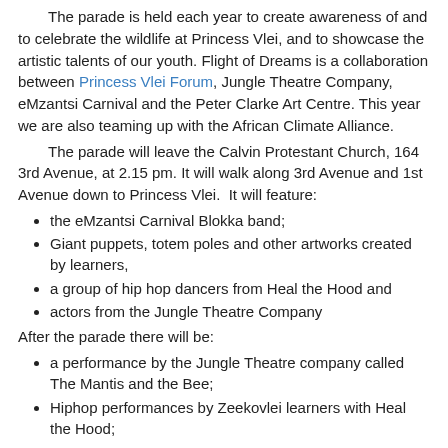The parade is held each year to create awareness of and to celebrate the wildlife at Princess Vlei, and to showcase the artistic talents of our youth. Flight of Dreams is a collaboration between Princess Vlei Forum, Jungle Theatre Company, eMzantsi Carnival and the Peter Clarke Art Centre. This year we are also teaming up with the African Climate Alliance.
The parade will leave the Calvin Protestant Church, 164 3rd Avenue, at 2.15 pm. It will walk along 3rd Avenue and 1st Avenue down to Princess Vlei. It will feature:
the eMzantsi Carnival Blokka band;
Giant puppets, totem poles and other artworks created by learners,
a group of hip hop dancers from Heal the Hood and
actors from the Jungle Theatre Company
After the parade there will be:
a performance by the Jungle Theatre company called The Mantis and the Bee;
Hiphop performances by Zeekovlei learners with Heal the Hood;